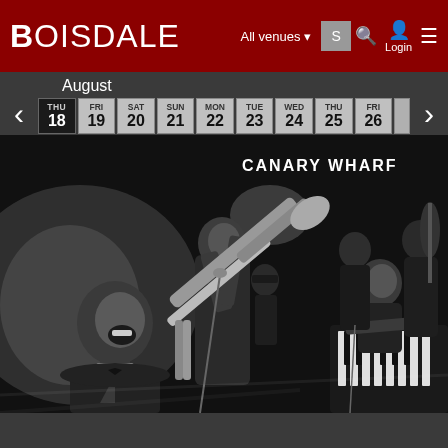BOISDALE — All venues | Login
August
| THU | FRI | SAT | SUN | MON | TUE | WED | THU | FRI |
| --- | --- | --- | --- | --- | --- | --- | --- | --- |
| 18 | 19 | 20 | 21 | 22 | 23 | 24 | 25 | 26 |
[Figure (photo): Black and white photograph of a jazz band performing on stage. A man singing in the foreground bottom-left, a trombone player in the center, a piano player on the right, and other musicians in the background. Text 'CANARY WHARF' overlaid top-right.]